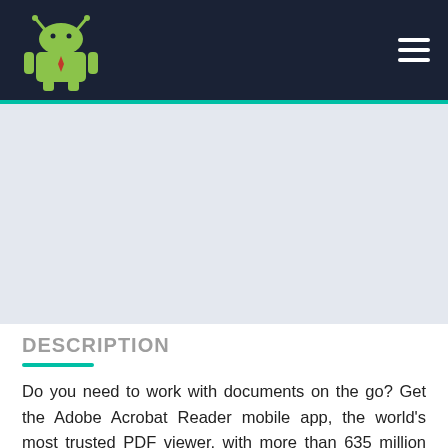Android Authority header with logo and hamburger menu
[Figure (other): Gray advertisement placeholder area below the navigation header]
DESCRIPTION
Do you need to work with documents on the go? Get the Adobe Acrobat Reader mobile app, the world's most trusted PDF viewer, with more than 635 million installs. Store your files